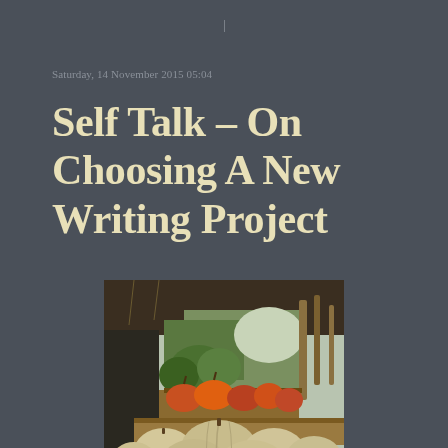Saturday, 14 November 2015 05:04
Self Talk - On Choosing A New Writing Project
[Figure (photo): A farm market stand showing pumpkins and gourds in wooden crates in the foreground, with greenery and hanging decorations along a covered walkway in the background.]